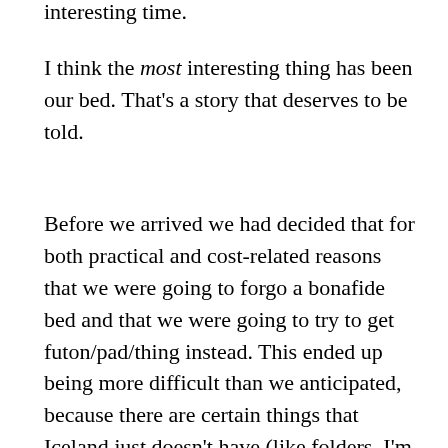interesting time.
I think the most interesting thing has been our bed. That's a story that deserves to be told.
Before we arrived we had decided that for both practical and cost-related reasons that we were going to forgo a bonafide bed and that we were going to try to get futon/pad/thing instead. This ended up being more difficult than we anticipated, because there are certain things that Iceland just doesn't have (like folders, I'm legitimately serious, they don't have normal folders here). It also got expensive, really quick, and after a